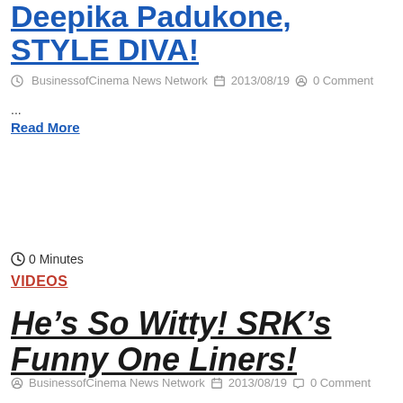Deepika Padukone, STYLE DIVA!
BusinessofCinema News Network  2013/08/19  0 Comment
...
Read More
0 Minutes
VIDEOS
He’s So Witty! SRK’s Funny One Liners!
BusinessofCinema News Network  2013/08/19  0 Comment